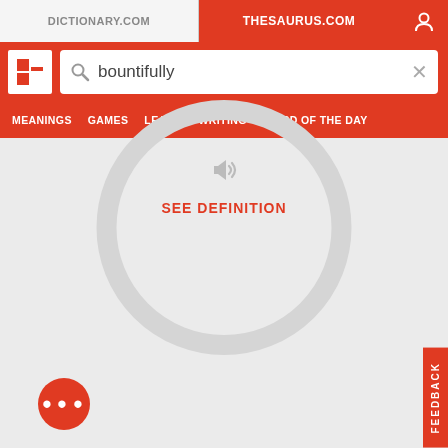DICTIONARY.COM | THESAURUS.COM
bountifully
MEANINGS   GAMES   LEARN   WRITING   WORD OF THE DAY
SEE DEFINITION
FEEDBACK